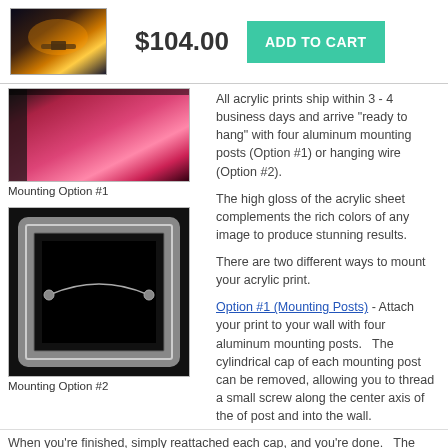[Figure (photo): Product thumbnail image of an airplane in dramatic sky scene]
$104.00
ADD TO CART
[Figure (photo): Mounting Option #1 - close-up of acrylic print edge showing pink/red image]
Mounting Option #1
All acrylic prints ship within 3 - 4 business days and arrive "ready to hang" with four aluminum mounting posts (Option #1) or hanging wire (Option #2).

The high gloss of the acrylic sheet complements the rich colors of any image to produce stunning results.

There are two different ways to mount your acrylic print.

Option #1 (Mounting Posts) - Attach your print to your wall with four aluminum mounting posts.   The cylindrical cap of each mounting post can be removed, allowing you to thread a small screw along the center axis of the of post and into the wall.
[Figure (photo): Mounting Option #2 - black background showing hanging wire frame]
Mounting Option #2
When you're finished, simply reattached each cap, and you're done.   The mounting posts act as stand-offs and keep your print separated from the wall by 1".   All of